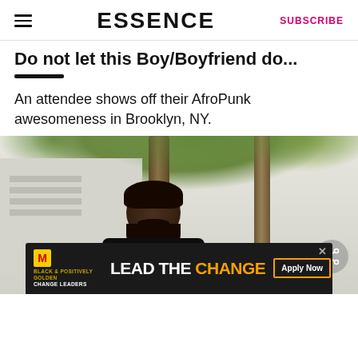ESSENCE | SUBSCRIBE
Do not let this Boy/Boyfriend do...
An attendee shows off their AfroPunk awesomeness in Brooklyn, NY.
[Figure (photo): A person with a beard and dreadlocks stands in front of trees in Brooklyn, NY at AfroPunk festival]
LEAD THE CHANGE — McDonald's Black & Positively Golden Change Leaders advertisement with Apply Now button